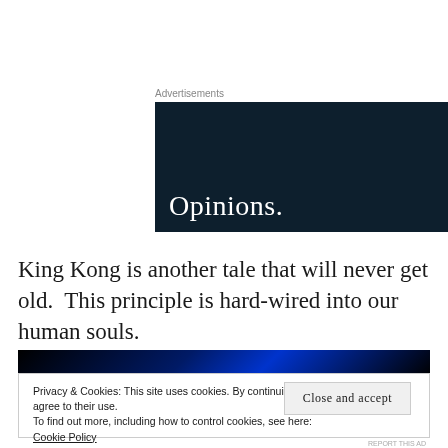Advertisements
[Figure (illustration): Dark navy blue advertisement banner for WordPress/Opinions blog. Shows WordPress logo (circle W) in top right and large white text 'Opinions.' at bottom left.]
King Kong is another tale that will never get old.  This principle is hard-wired into our human souls.
[Figure (photo): Dark blue and black video thumbnail strip]
Privacy & Cookies: This site uses cookies. By continuing to use this website, you agree to their use.
To find out more, including how to control cookies, see here:
Cookie Policy
Close and accept
REPORT THIS AD